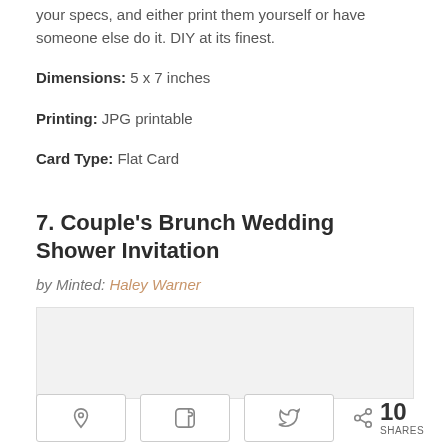your specs, and either print them yourself or have someone else do it. DIY at its finest.
Dimensions: 5 x 7 inches
Printing: JPG printable
Card Type: Flat Card
7. Couple's Brunch Wedding Shower Invitation
by Minted: Haley Warner
[Figure (other): Light gray placeholder image block]
10 SHARES